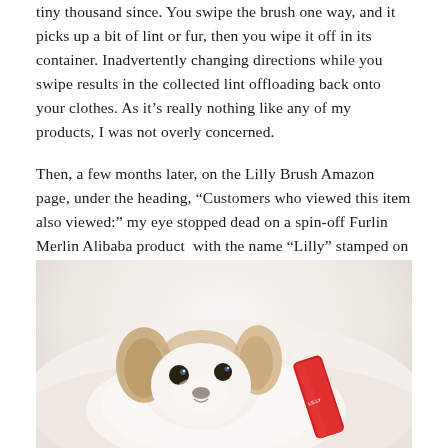tiny thousand since. You swipe the brush one way, and it picks up a bit of lint or fur, then you wipe it off in its container. Inadvertently changing directions while you swipe results in the collected lint offloading back onto your clothes. As it's really nothing like any of my products, I was not overly concerned.
Then, a few months later, on the Lilly Brush Amazon page, under the heading, “Customers who viewed this item also viewed:” my eye stopped dead on a spin-off Furlin Merlin Alibaba product  with the name “Lilly” stamped on it. There it was...a problem. My heart turned frosty and I called my lawyer. “This should be easy,” he said, “just get their name and address and we’ll start with a simple cease and desist.”
[Figure (photo): A small white and tan dog (likely a Chihuahua or Papillon mix) lying on a white fluffy surface, looking up at the camera. A red Lilly Brush product handle is visible next to the dog.]